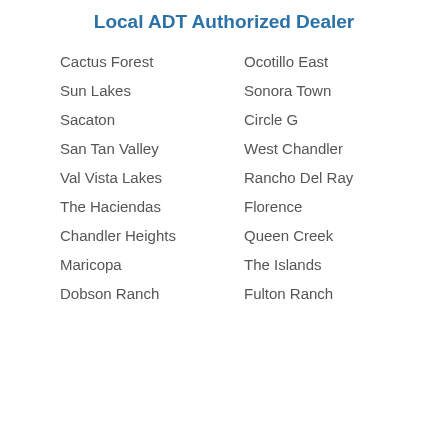Local ADT Authorized Dealer
Cactus Forest
Ocotillo East
Sun Lakes
Sonora Town
Sacaton
Circle G
San Tan Valley
West Chandler
Val Vista Lakes
Rancho Del Ray
The Haciendas
Florence
Chandler Heights
Queen Creek
Maricopa
The Islands
Dobson Ranch
Fulton Ranch